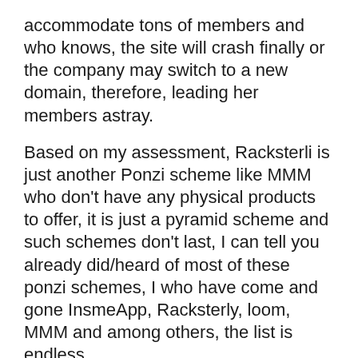accommodate tons of members and who knows, the site will crash finally or the company may switch to a new domain, therefore, leading her members astray.
Based on my assessment, Racksterli is just another Ponzi scheme like MMM who don't have any physical products to offer, it is just a pyramid scheme and such schemes don't last, I can tell you already did/heard of most of these ponzi schemes, I who have come and gone InsmeApp, Racksterly, loom, MMM and among others, the list is endless
Do not invest your hard-earned money in Goldomc Racksteri, Its likely to turn out scam and it will surely end in tears!!!